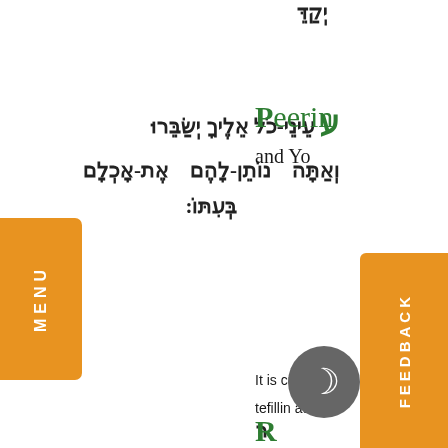עֵינֵי-כֹל אֵלֶיךָ יְשַׂבֵּרוּ
וְאַתָּה נוֹתֵן-לָהֶם אֶת-אָכְלָם בְּעִתּוֹ:
Peerin
and Yo
It is custo
tefillin at °
פּוֹתֵחַ אֶת-יָדֶךָ
וּמַשְׂבִּיעַ לְכָל-חַי רָצוֹן:
Q
R